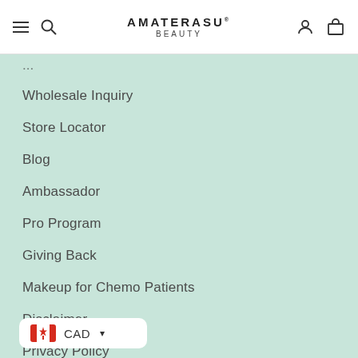AMATERASU BEAUTY — navigation header with hamburger, search, account, and cart icons
Wholesale Inquiry
Store Locator
Blog
Ambassador
Pro Program
Giving Back
Makeup for Chemo Patients
Disclaimer
Privacy Policy
Terms & Condition
CAD currency selector with Canadian flag